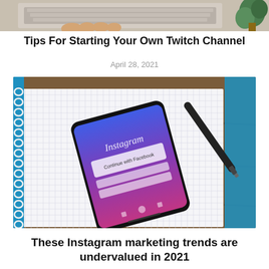[Figure (photo): Top portion of a photo showing a person typing on a laptop keyboard with a plant in the top-right corner, cropped at the bottom]
Tips For Starting Your Own Twitch Channel
April 28, 2021
[Figure (photo): A smartphone displaying the Instagram app login screen, placed on a spiral-bound grid notebook with a stylus/pen beside it on a wooden table]
These Instagram marketing trends are undervalued in 2021